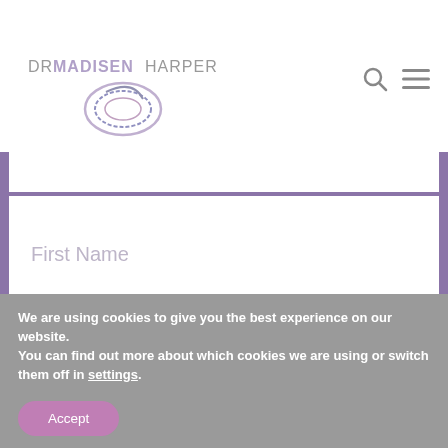[Figure (logo): Dr Madisen Harper logo with stylized circular swirl graphic and text DRMADISENHARPER]
[Figure (screenshot): Website form UI showing a First Name input field on purple background]
[Figure (screenshot): Pink HOOK ME UP button with loading spinner overlay]
We are using cookies to give you the best experience on our website.
You can find out more about which cookies we are using or switch them off in settings.
Accept